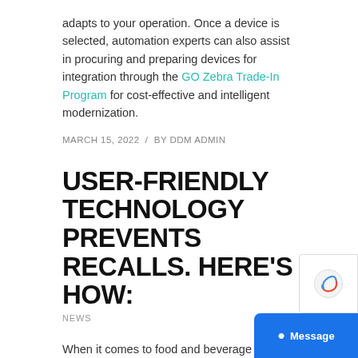adapts to your operation. Once a device is selected, automation experts can also assist in procuring and preparing devices for integration through the GO Zebra Trade-In Program for cost-effective and intelligent modernization.
MARCH 15, 2022 / BY DDM ADMIN
USER-FRIENDLY TECHNOLOGY PREVENTS RECALLS. HERE'S HOW:
NEWS
When it comes to food and beverage and pharmaceutical safety, traceability is the baseline for future and sustainable success. Without it, vital products risk spoilage, impacting not only just bottom line but also consumer safety. Ingestible and m… products risk…